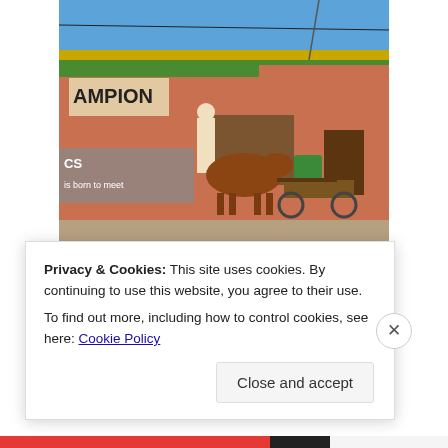[Figure (photo): A photo of a person standing next to a zebu pulling a wooden cart, in front of a shop with a green and yellow awning bearing the text 'AMPION' and 'SIAMPION', on a street in what appears to be a town in Africa or Madagascar.]
A zebu cart
app you'll ever need.
Privacy & Cookies: This site uses cookies. By continuing to use this website, you agree to their use.
To find out more, including how to control cookies, see here: Cookie Policy
Close and accept